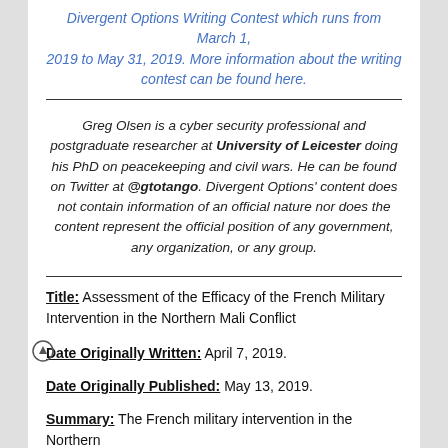Divergent Options Writing Contest which runs from March 1, 2019 to May 31, 2019.  More information about the writing contest can be found here.
Greg Olsen is a cyber security professional and postgraduate researcher at University of Leicester doing his PhD on peacekeeping and civil wars.  He can be found on Twitter at @gtotango.  Divergent Options' content does not contain information of an official nature nor does the content represent the official position of any government, any organization, or any group.
Title:  Assessment of the Efficacy of the French Military Intervention in the Northern Mali Conflict
Date Originally Written:  April 7, 2019.
Date Originally Published:  May 13, 2019.
Summary:  The French military intervention in the Northern